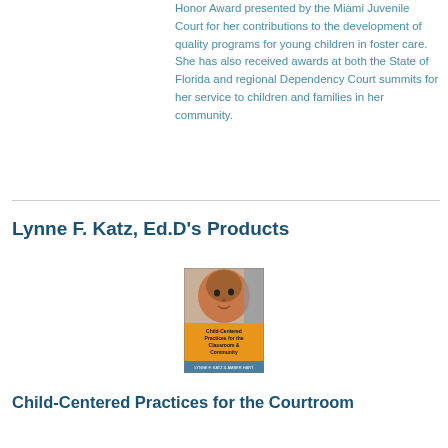Honor Award presented by the Miami Juvenile Court for her contributions to the development of quality programs for young children in foster care. She has also received awards at both the State of Florida and regional Dependency Court summits for her service to children and families in her community.
Lynne F. Katz, Ed.D's Products
[Figure (photo): Book cover of 'Child-Centered Practices for the Classroom & Community' featuring a child's face on the cover with an orange and blue design.]
Child-Centered Practices for the Courtroom